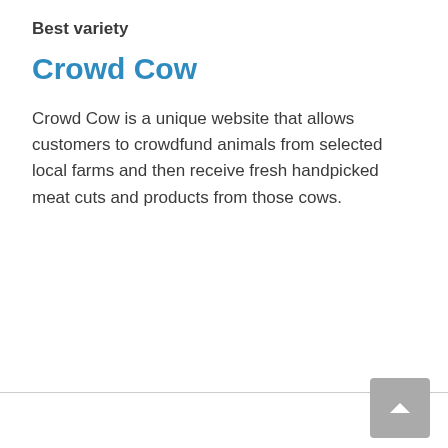Best variety
Crowd Cow
Crowd Cow is a unique website that allows customers to crowdfund animals from selected local farms and then receive fresh handpicked meat cuts and products from those cows.